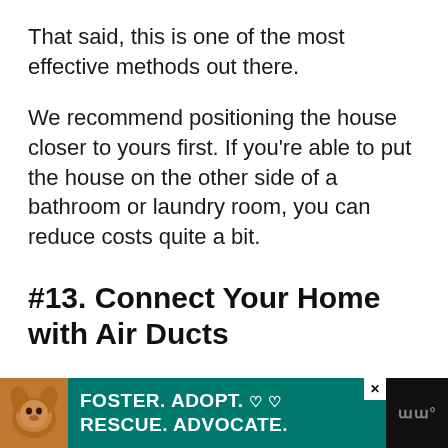That said, this is one of the most effective methods out there.
We recommend positioning the house closer to yours first. If you’re able to put the house on the other side of a bathroom or laundry room, you can reduce costs quite a bit.
#13. Connect Your Home with Air Ducts
[Figure (other): Advertisement banner at the bottom of the page showing a dog image on the left, teal background with text FOSTER. ADOPT. RESCUE. ADVOCATE. with heart symbols, a close button, and a dark right panel with a sound/speaker icon.]